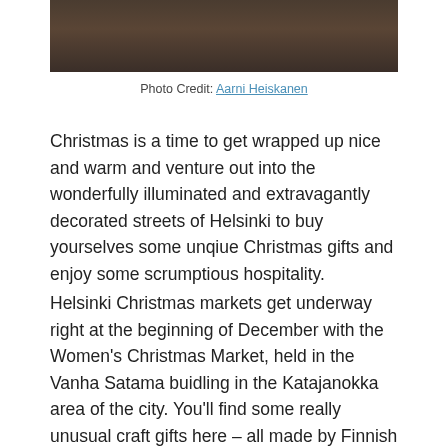[Figure (photo): Top portion of a photograph showing a building exterior, dark tones, partially cropped]
Photo Credit: Aarni Heiskanen
Christmas is a time to get wrapped up nice and warm and venture out into the wonderfully illuminated and extravagantly decorated streets of Helsinki to buy yourselves some unqiue Christmas gifts and enjoy some scrumptious hospitality.
Helsinki Christmas markets get underway right at the beginning of December with the Women's Christmas Market, held in the Vanha Satama buidling in the Katajanokka area of the city. You'll find some really unusual craft gifts here – all made by Finnish women artisans. You can also stock up on vital ingredients for the Christmas